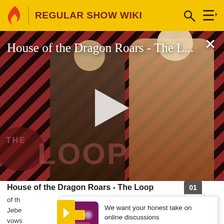REGULAR SHOW WIKI
[Figure (screenshot): Video player showing House of the Dragon Roars - The L... with two characters and THE LOOP watermark, diagonal red/black stripe background, white play button in center]
House of the Dragon Roars - The Loop
of th... top, Jebe... vows...
We want your honest take on online discussions
SURVEY: ONLINE FORUMS